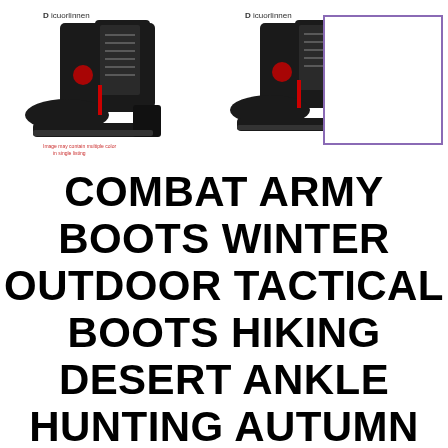[Figure (photo): Two product photos of black combat/tactical boots side by side, each with a brand logo 'Dicuorinner' at the top, and a purple-bordered empty placeholder box to the right]
COMBAT ARMY BOOTS WINTER OUTDOOR TACTICAL BOOTS HIKING DESERT ANKLE HUNTING AUTUMN SAFETY SHOES BIG SIZE 47 MILITARY MEN